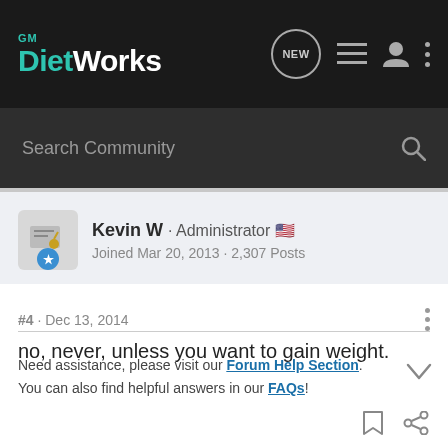GM DietWorks
Search Community
Kevin W · Administrator
Joined Mar 20, 2013 · 2,307 Posts
#4 · Dec 13, 2014
no, never, unless you want to gain weight.
Need assistance, please visit our Forum Help Section. You can also find helpful answers in our FAQs!